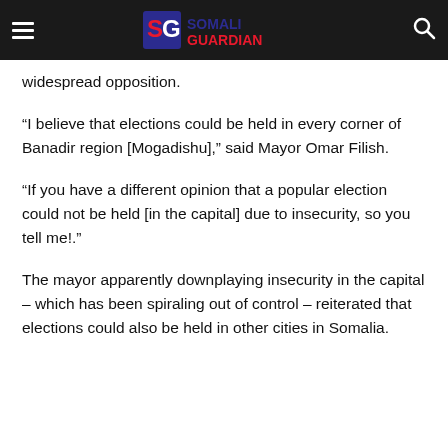Somali Guardian
widespread opposition.
“I believe that elections could be held in every corner of Banadir region [Mogadishu],” said Mayor Omar Filish.
“If you have a different opinion that a popular election could not be held [in the capital] due to insecurity, so you tell me!.”
The mayor apparently downplaying insecurity in the capital – which has been spiraling out of control – reiterated that elections could also be held in other cities in Somalia.